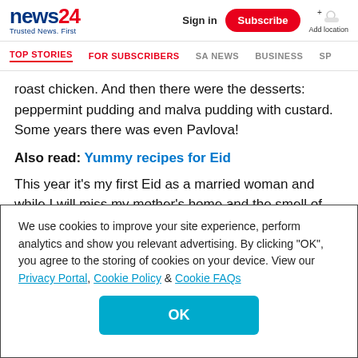news24 Trusted News. First — Sign in | Subscribe | Add location
TOP STORIES | FOR SUBSCRIBERS | SA NEWS | BUSINESS | SP...
roast chicken. And then there were the desserts: peppermint pudding and malva pudding with custard. Some years there was even Pavlova!
Also read: Yummy recipes for Eid
This year it's my first Eid as a married woman and while I will miss my mother's home and the smell of her delicious
We use cookies to improve your site experience, perform analytics and show you relevant advertising. By clicking "OK", you agree to the storing of cookies on your device. View our Privacy Portal, Cookie Policy & Cookie FAQs
OK